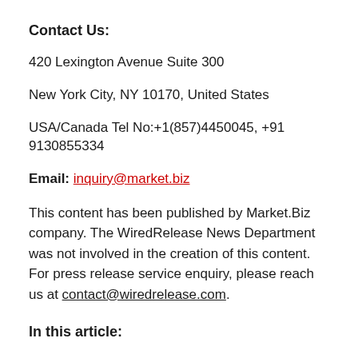Contact Us:
420 Lexington Avenue Suite 300
New York City, NY 10170, United States
USA/Canada Tel No:+1(857)4450045, +91 9130855334
Email: inquiry@market.biz
This content has been published by Market.Biz company. The WiredRelease News Department was not involved in the creation of this content. For press release service enquiry, please reach us at contact@wiredrelease.com.
In this article: